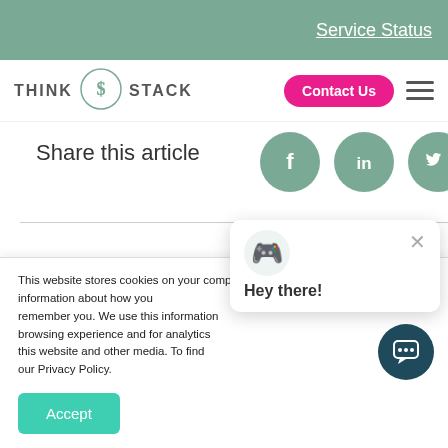Service Status
[Figure (logo): Think Stack logo with stylized TS icon and text THINK STACK]
Contact Us
Share this article
[Figure (infographic): Social media share icons: Facebook, LinkedIn, Twitter in teal circles]
This website stores cookies on your computer. These cookies are used to collect information about how you remember you. We use this information browsing experience and for analysis this website and other media. To find our Privacy Policy.
[Figure (illustration): Chat popup with avatar emoji and Hey there! greeting with close button]
Accept
[Figure (illustration): Chat floating action button in dark teal]